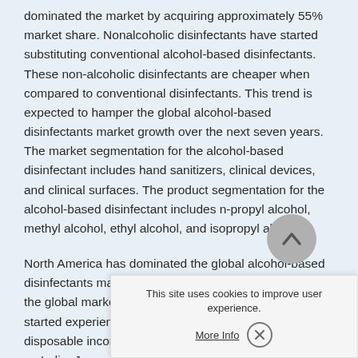dominated the market by acquiring approximately 55% market share. Nonalcoholic disinfectants have started substituting conventional alcohol-based disinfectants. These non-alcoholic disinfectants are cheaper when compared to conventional disinfectants. This trend is expected to hamper the global alcohol-based disinfectants market growth over the next seven years. The market segmentation for the alcohol-based disinfectant includes hand sanitizers, clinical devices, and clinical surfaces. The product segmentation for the alcohol-based disinfectant includes n-propyl alcohol, methyl alcohol, ethyl alcohol, and isopropyl alcohol.
North America has dominated the global alcohol-based disinfectants market by acquiring approximately 33% of the global market share. Europe and Asia Pacific ha... started experiencing rapid d... disposable income and high... as India, Japan, China, Mala... shown a positive increase in demand over the last few...